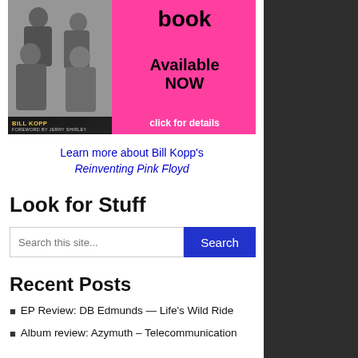[Figure (illustration): Book advertisement banner with pink background showing band photo on left and 'book Available NOW click for details' text on right. Photo has 'BILL KOPP FOREWORD BY JERRY SHIRLEY' caption bar.]
Learn more about Bill Kopp's Reinventing Pink Floyd
Look for Stuff
Search this site... Search
Recent Posts
EP Review: DB Edmunds — Life's Wild Ride
Album review: Azymuth – Telecommunication